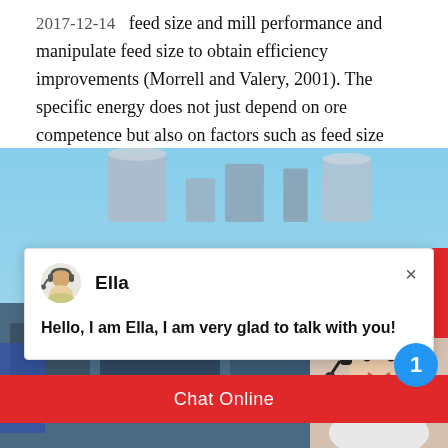2017-12-14   feed size and mill performance and manipulate feed size to obtain efficiency improvements (Morrell and Valery, 2001). The specific energy does not just depend on ore competence but also on factors such as feed size and ball load…
[Figure (screenshot): Screenshot of an industrial equipment website showing a chat popup from 'Ella' saying 'Hello, I am Ella, I am very glad to talk with you!' over a background of industrial machinery and a customer service representative photo. Bottom buttons include 'More', 'Online Chat', and 'Chat Now'. A notification badge shows '1'.]